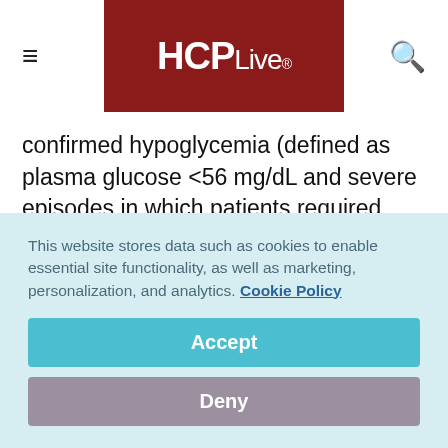HCPLive®
confirmed hypoglycemia (defined as plasma glucose <56 mg/dL and severe episodes in which patients required assistance), nocturnal hypoglycemia (between midnight at 6 am), and glycemic control with IDeg and IGlar in a clinically obese population.
This website stores data such as cookies to enable essential site functionality, as well as marketing, personalization, and analytics. Cookie Policy
Accept
Deny